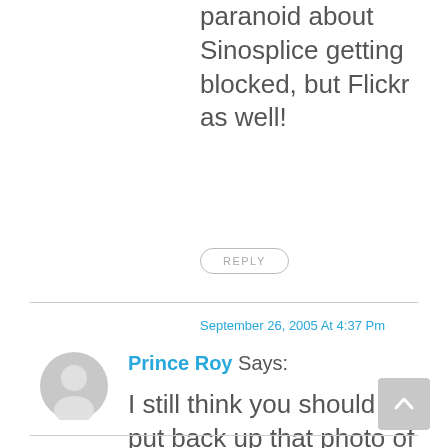paranoid about Sinosplice getting blocked, but Flickr as well!
REPLY
September 26, 2005 At 4:37 Pm
[Figure (illustration): Gray circular avatar/user icon]
Prince Roy Says:
I still think you should put back up that photo of you where you look exactly like Vanilla Ice.
REPLY